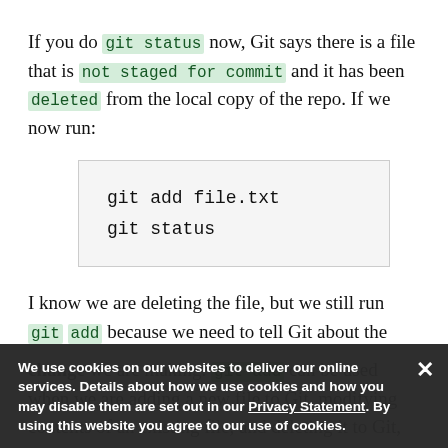If you do git status now, Git says there is a file that is not staged for commit and it has been deleted from the local copy of the repo. If we now run:
git add file.txt
git status
I know we are deleting the file, but we still run git add because we need to tell Git about the change we are making. git add can be used when we are adding a new file to Git, modifying contents of an existing file, and deleting it to Git, or deleting. git add takes all the...
We use cookies on our websites to deliver our online services. Details about how we use cookies and how you may disable them are set out in our Privacy Statement. By using this website you agree to our use of cookies.